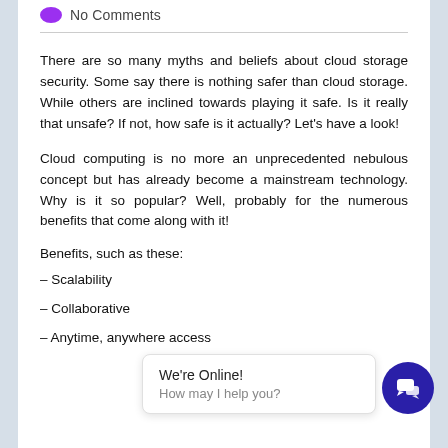No Comments
There are so many myths and beliefs about cloud storage security. Some say there is nothing safer than cloud storage. While others are inclined towards playing it safe. Is it really that unsafe? If not, how safe is it actually? Let's have a look!
Cloud computing is no more an unprecedented nebulous concept but has already become a mainstream technology. Why is it so popular? Well, probably for the numerous benefits that come along with it!
Benefits, such as these:
– Scalability
– Collaborative
– Anytime, anywhere access